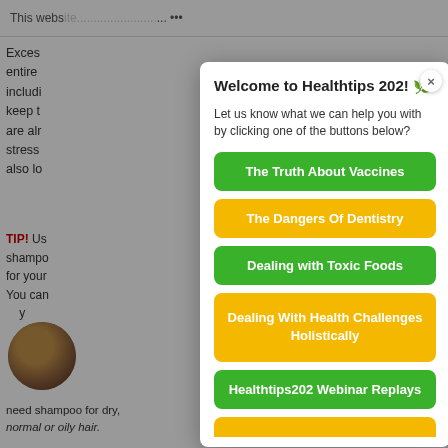This website ... assume ...
Excess... entire... includi... keep t... are alr... stress... also lo...
TIP! Us... shampo... for your... You can... y... o...
Welcome to Healthtips 202! 🌿
Let us know what we can help you with by clicking one of the buttons below?
The Truth About Vaccines
The Dangers Of Dentistry
Dealing with Toxic Foods
Dealing With Health Challenges Holistically
Healthtips202 Webinar Replays
need shampoo for dry, normal or oily hair.
you are experiencing loss of